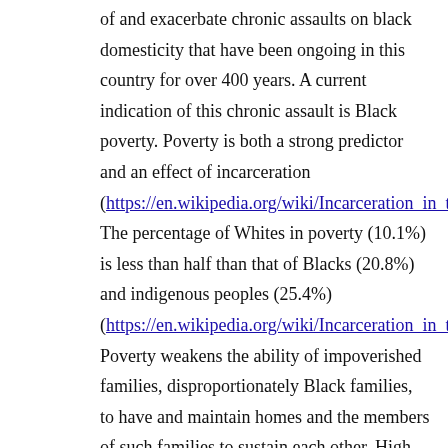of and exacerbate chronic assaults on black domesticity that have been ongoing in this country for over 400 years. A current indication of this chronic assault is Black poverty. Poverty is both a strong predictor and an effect of incarceration (https://en.wikipedia.org/wiki/Incarceration_in_the_United The percentage of Whites in poverty (10.1%) is less than half than that of Blacks (20.8%) and indigenous peoples (25.4%) (https://en.wikipedia.org/wiki/Incarceration_in_the_United Poverty weakens the ability of impoverished families, disproportionately Black families, to have and maintain homes and the members of such families to sustain each other. High incarceration rates of Blacks both reflect and exacerbates this poverty. Incarceration weakens and often breaks